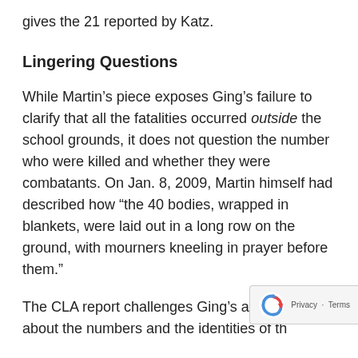gives the 21 reported by Katz.
Lingering Questions
While Martin’s piece exposes Ging’s failure to clarify that all the fatalities occurred outside the school grounds, it does not question the number who were killed and whether they were combatants. On Jan. 8, 2009, Martin himself had described how “the 40 bodies, wrapped in blankets, were laid out in a long row on the ground, with mourners kneeling in prayer before them.”
The CLA report challenges Ging’s assertion about the numbers and the identities of the killed. It demonstrates the so-called individual